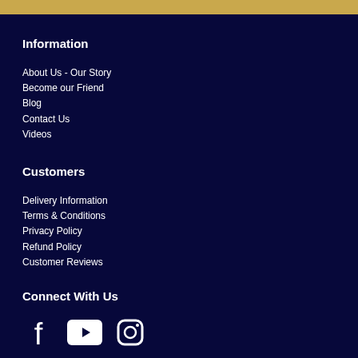Information
About Us - Our Story
Become our Friend
Blog
Contact Us
Videos
Customers
Delivery Information
Terms & Conditions
Privacy Policy
Refund Policy
Customer Reviews
Connect With Us
[Figure (illustration): Social media icons: Facebook, YouTube, Instagram]